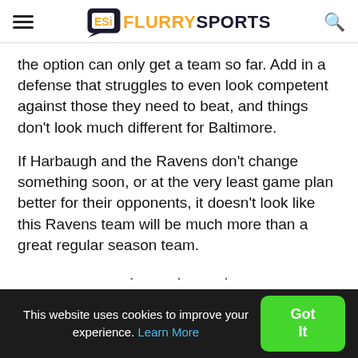Flurry Sports
the option can only get a team so far. Add in a defense that struggles to even look competent against those they need to beat, and things don’t look much different for Baltimore.
If Harbaugh and the Ravens don’t change something soon, or at the very least game plan better for their opponents, it doesn’t look like this Ravens team will be much more than a great regular season team.
• • •
This website uses cookies to improve your experience. Learn More